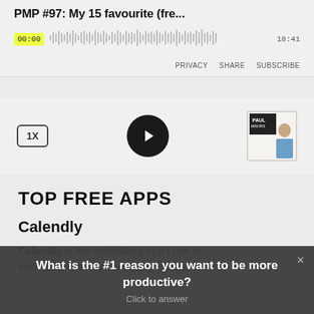PMP #97: My 15 favourite (fre...
[Figure (screenshot): Audio waveform player with timestamp 00:00 on left and 18:41 on right]
PRIVACY  SHARE  SUBSCRIBE
[Figure (screenshot): Podcast player controls: 1X speed button, play button (dark circle with triangle), and podcast thumbnail showing Paul Minors]
TOP FREE APPS
Calendly
Calendly is the scheduling app I use to book calls with my consulting clients. It's
What is the #1 reason you want to be more productive?
Click to answer